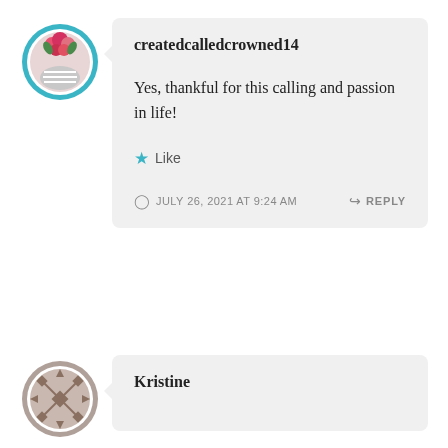[Figure (illustration): Circular avatar with teal border showing a person with floral decorations]
createdcalledcrowned14
Yes, thankful for this calling and passion in life!
Like
JULY 26, 2021 AT 9:24 AM
REPLY
[Figure (illustration): Circular avatar with decorative geometric pattern in brown/taupe tones]
Kristine